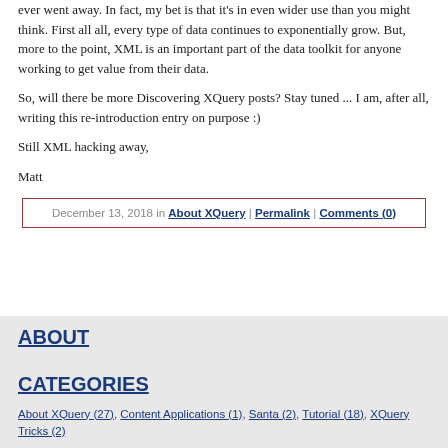ever went away. In fact, my bet is that it's in even wider use than you might think. First all all, every type of data continues to exponentially grow. But, more to the point, XML is an important part of the data toolkit for anyone working to get value from their data.
So, will there be more Discovering XQuery posts? Stay tuned ... I am, after all, writing this re-introduction entry on purpose :)
Still XML hacking away,
Matt
December 13, 2018 in About XQuery | Permalink | Comments (0)
ABOUT
CATEGORIES
About XQuery (27), Content Applications (1), Santa (2), Tutorial (18), XQuery Tricks (2)